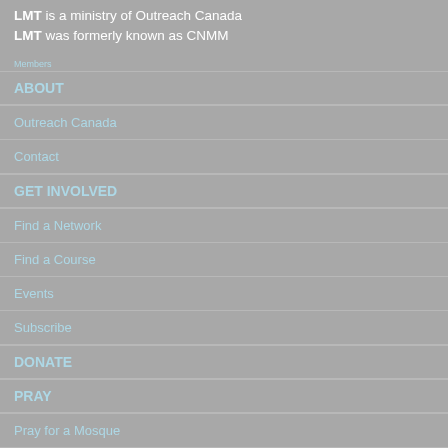LMT is a ministry of Outreach Canada
LMT was formerly known as CNMM
Members
ABOUT
Outreach Canada
Contact
GET INVOLVED
Find a Network
Find a Course
Events
Subscribe
DONATE
PRAY
Pray for a Mosque
Monthly Call to Prayer
Pray for the City
GOD HEARS Prayer Letter